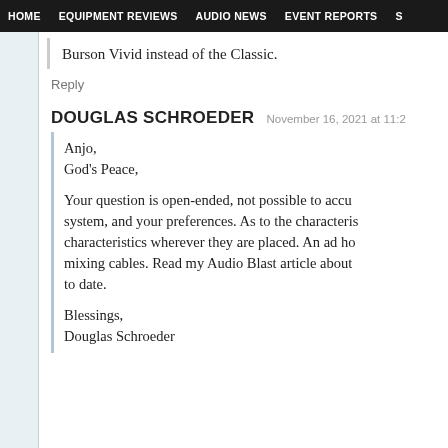HOME   EQUIPMENT REVIEWS   AUDIO NEWS   EVENT REPORTS   S
Burson Vivid instead of the Classic.
Reply
DOUGLAS SCHROEDER   November 16, 2021 at 11:2
Anjo,
God's Peace,

Your question is open-ended, not possible to accu system, and your preferences. As to the characteris characteristics wherever they are placed. An ad ho mixing cables. Read my Audio Blast article about to date.

Blessings,
Douglas Schroeder